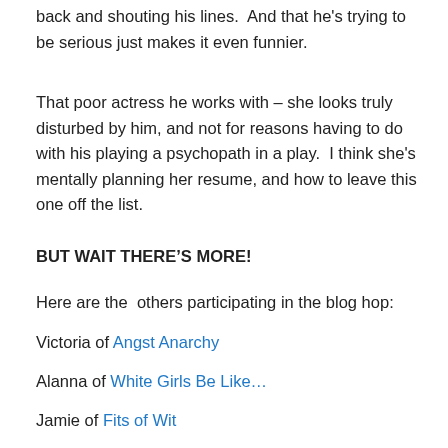back and shouting his lines.  And that he's trying to be serious just makes it even funnier.
That poor actress he works with – she looks truly disturbed by him, and not for reasons having to do with his playing a psychopath in a play.  I think she's mentally planning her resume, and how to leave this one off the list.
BUT WAIT THERE'S MORE!
Here are the  others participating in the blog hop:
Victoria of Angst Anarchy
Alanna of White Girls Be Like…
Jamie of Fits of Wit
H.E. Ellis of H.E. Ellis